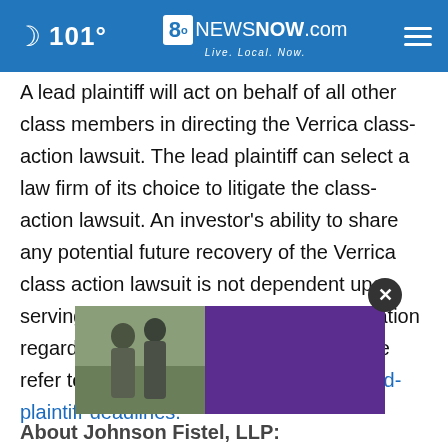🌙 101° | 8oNEWSNOW.com Live. Local. Now.
A lead plaintiff will act on behalf of all other class members in directing the Verrica class-action lawsuit. The lead plaintiff can select a law firm of its choice to litigate the class-action lawsuit. An investor's ability to share any potential future recovery of the Verrica class action lawsuit is not dependent upon serving as lead plaintiff. For more information regarding the lead plaintiff process please refer to https://www.johnsonfistel.com/lead-plaintiff-deadlines.
[Figure (photo): Advertisement overlay showing two men outdoors and a purple panel, with a close (X) button]
About Johnson Fistel, LLP: